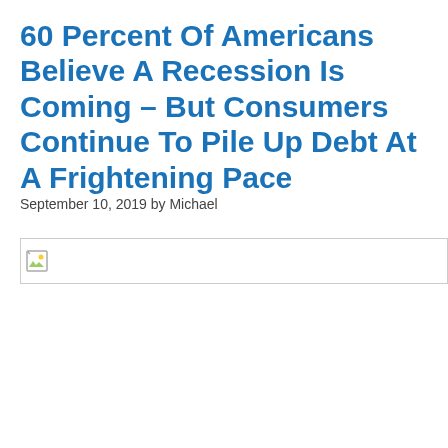60 Percent Of Americans Believe A Recession Is Coming – But Consumers Continue To Pile Up Debt At A Frightening Pace
September 10, 2019 by Michael
[Figure (other): Broken/missing image placeholder shown as a small icon with a border box]